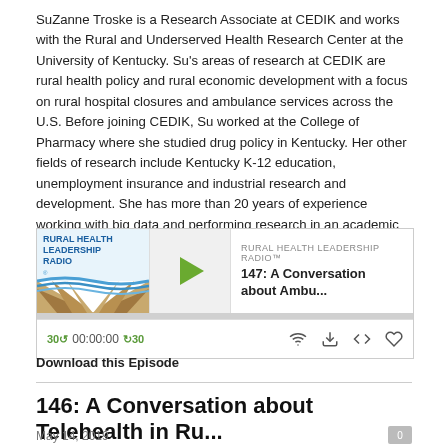SuZanne Troske is a Research Associate at CEDIK and works with the Rural and Underserved Health Research Center at the University of Kentucky. Su's areas of research at CEDIK are rural health policy and rural economic development with a focus on rural hospital closures and ambulance services across the U.S. Before joining CEDIK, Su worked at the College of Pharmacy where she studied drug policy in Kentucky. Her other fields of research include Kentucky K-12 education, unemployment insurance and industrial research and development. She has more than 20 years of experience working with big data and performing research in an academic research environment.
[Figure (screenshot): Rural Health Leadership Radio podcast player widget showing episode 147: A Conversation about Ambu... with play button, progress bar, and audio controls showing 00:00:00 timestamp]
Download this Episode
146: A Conversation about Telehealth in Ru...
May 14, 2019
We're talking about Telehealth in Rural America.  We're having that conversation with Dr. Windy Alonso, Post-Doctoral Research Associate at the University of Nebraska Medical Center, College of Nursing, Dr. Elizabeth